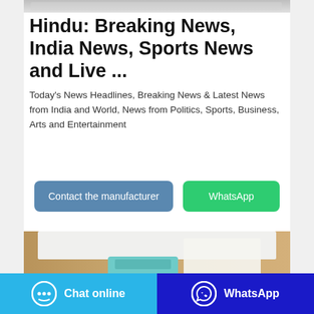[Figure (photo): Top partial image strip showing a white/gray surface]
Hindu: Breaking News, India News, Sports News and Live ...
Today's News Headlines, Breaking News & Latest News from India and World, News from Politics, Sports, Business, Arts and Entertainment
[Figure (other): Contact the manufacturer button (blue-gray) and WhatsApp button (green)]
[Figure (photo): Bottom product image showing items on a wooden surface]
Chat online | WhatsApp